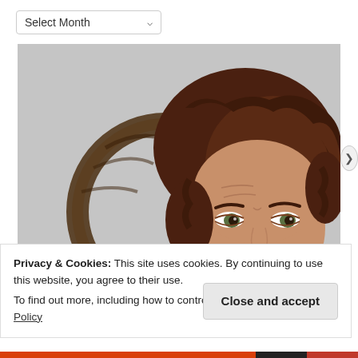Select Month
[Figure (photo): A woman with curly dark hair looking directly at camera, with a decorative grapevine wreath with cream/yellow flowers and a large white letter H visible in the background against a gray wall.]
Privacy & Cookies: This site uses cookies. By continuing to use this website, you agree to their use.
To find out more, including how to control cookies, see here: Cookie Policy
Close and accept